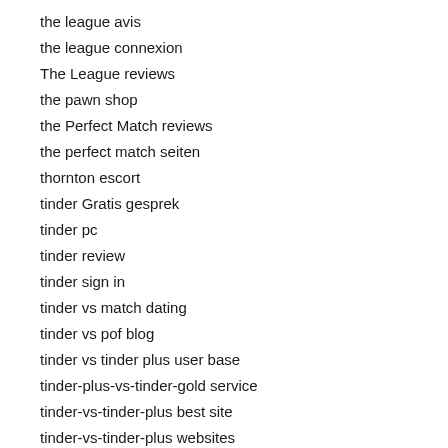the league avis
the league connexion
The League reviews
the pawn shop
the Perfect Match reviews
the perfect match seiten
thornton escort
tinder Gratis gesprek
tinder pc
tinder review
tinder sign in
tinder vs match dating
tinder vs pof blog
tinder vs tinder plus user base
tinder-plus-vs-tinder-gold service
tinder-vs-tinder-plus best site
tinder-vs-tinder-plus websites
tinderpartnersuche.de Mobile Seite